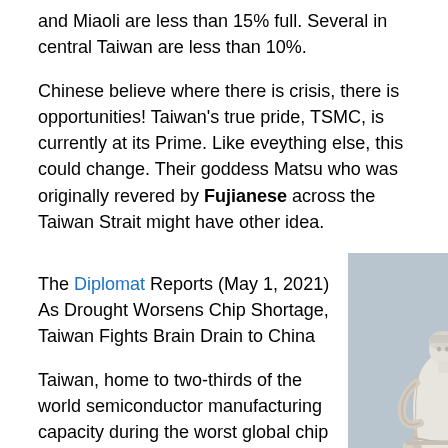and Miaoli are less than 15% full. Several in central Taiwan are less than 10%.
Chinese believe where there is crisis, there is opportunities! Taiwan's true pride, TSMC, is currently at its Prime. Like eveything else, this could change. Their goddess Matsu who was originally revered by Fujianese across the Taiwan Strait might have other idea.
The Diplomat Reports (May 1, 2021) As Drought Worsens Chip Shortage, Taiwan Fights Brain Drain to China
[Figure (photo): A white stone statue of a robed female figure (likely the goddess Matsu) on a pedestal, photographed against a grey sky.]
Taiwan, home to two-thirds of the world semiconductor manufacturing capacity during the worst global chip shortage in